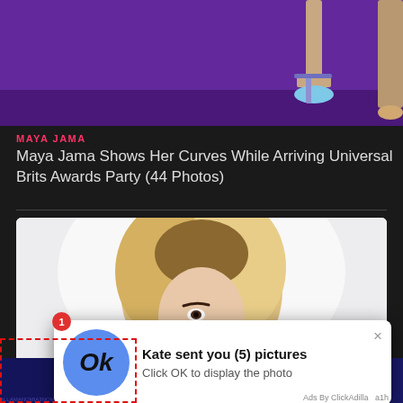[Figure (photo): Close-up of legs/feet in blue heeled sandals on a purple carpet background]
MAYA JAMA
Maya Jama Shows Her Curves While Arriving Universal Brits Awards Party (44 Photos)
[Figure (photo): Blonde woman's face/head shot with light background]
[Figure (screenshot): Notification popup: 'Kate sent you (5) pictures — Click OK to display the photo' with blue OK button circle and red badge showing 1 notification. Ads By ClickAdilla a1h label at bottom right.]
[Figure (photo): Bottom ad strip with blue background, emoji icons and colorful elements. Red dashed border box in bottom-left corner.]